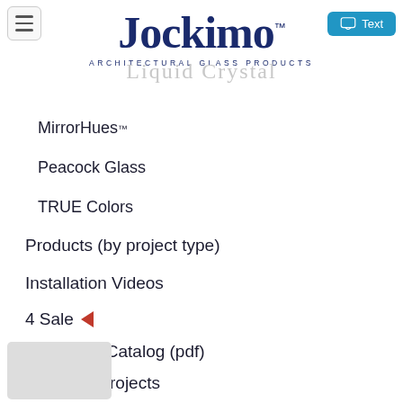[Figure (logo): Jockimo Architectural Glass Products logo — large serif navy blue text 'Jockimo' with TM mark, subtitle 'ARCHITECTURAL GLASS PRODUCTS' in small caps]
MirrorHues™
Peacock Glass
TRUE Colors
Products (by project type)
Installation Videos
4 Sale ◄
Download Catalog (pdf)
Featured Projects
[Figure (photo): Partially visible thumbnail image at bottom left, gray placeholder]